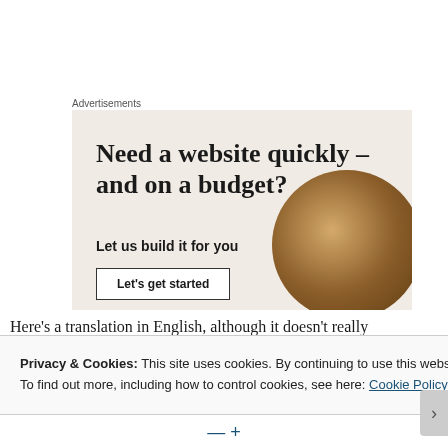Advertisements
[Figure (illustration): Advertisement banner with beige background showing text 'Need a website quickly – and on a budget?' with subtext 'Let us build it for you' and a 'Let's get started' button, plus a decorative circular image of a croissant on the right side.]
Here's a translation in English, although it doesn't really
Privacy & Cookies: This site uses cookies. By continuing to use this website, you agree to their use.
To find out more, including how to control cookies, see here: Cookie Policy
Close and accept